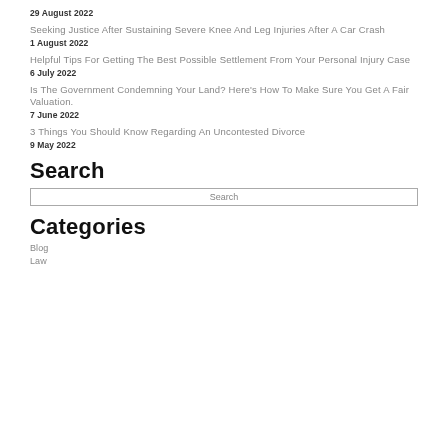29 August 2022
Seeking Justice After Sustaining Severe Knee And Leg Injuries After A Car Crash
1 August 2022
Helpful Tips For Getting The Best Possible Settlement From Your Personal Injury Case
6 July 2022
Is The Government Condemning Your Land? Here's How To Make Sure You Get A Fair Valuation.
7 June 2022
3 Things You Should Know Regarding An Uncontested Divorce
9 May 2022
Search
Search
Categories
Blog
Law